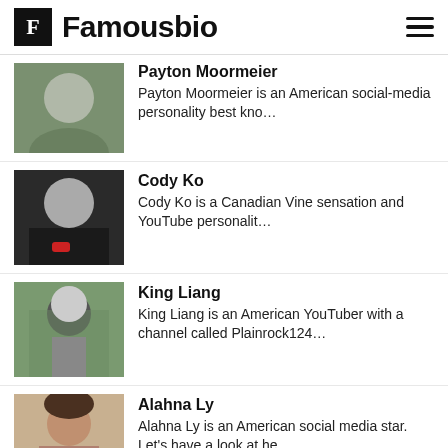Famousbio
Payton Moormeier
Payton Moormeier is an American social-media personality best kno...
Cody Ko
Cody Ko is a Canadian Vine sensation and YouTube personalit...
King Liang
King Liang is an American YouTuber with a channel called Plainrock124...
Alahna Ly
Alahna Ly is an American social media star. Let's have a look at he...